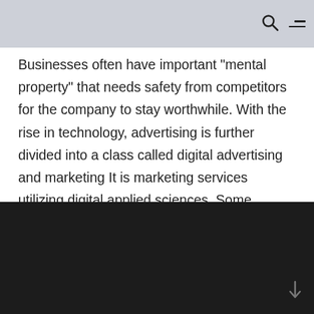[search and menu icons]
Businesses often have important "mental property" that needs safety from competitors for the company to stay worthwhile. With the rise in technology, advertising is further divided into a class called digital advertising and marketing It is marketing services utilizing digital applied sciences. Some businesses are subject to ongoing special regulation, for example, public utilities , investment securities, banking, insurance, broadcasting , aviation , and health care suppliers.
[Figure (other): Dark/black rectangular block at the bottom of the page, likely a video or image placeholder]